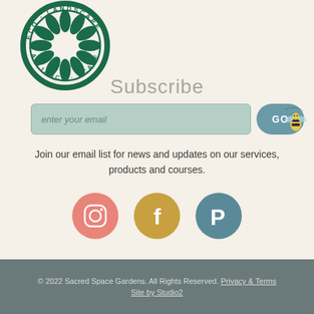[Figure (logo): Eco Landscape Alliance circular logo in dark green, partially cropped at top-left]
Subscribe
[Figure (illustration): Email input field with placeholder 'enter your email', GO button, and bee illustration]
Join our email list for news and updates on our services, products and courses.
[Figure (illustration): Social media icons: Instagram (pink), Facebook (golden yellow), Pinterest (teal)]
© 2022 Sacred Space Gardens. All Rights Reserved. Privacy & Terms Site by Studio2